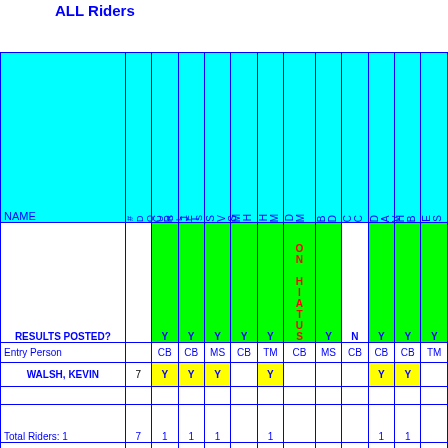ALL Riders
| NAME | #DOUBLES | CR | JT | SVS | MH | HM | DM | BD | CC | DAV | HB | ES |
| --- | --- | --- | --- | --- | --- | --- | --- | --- | --- | --- | --- | --- |
| RESULTS POSTED? |  | Y | Y | Y | Y | Y | ON HIATUS | Y | N | Y | Y | Y |
| Entry Person |  | CB | CB | MS | CB | TM | CB | MS | CB | CB | CB | TM |
| WALSH, KEVIN | 7 | Y | Y | Y |  | Y |  |  |  | Y | Y |  |
| Total Riders: 1 | 7 | 1 | 1 | 1 |  | 1 |  |  |  | 1 | 1 |  |